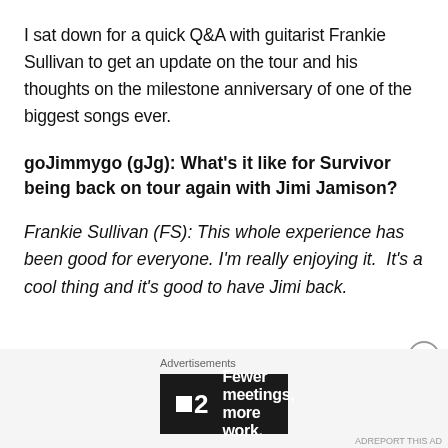I sat down for a quick Q&A with guitarist Frankie Sullivan to get an update on the tour and his thoughts on the milestone anniversary of one of the biggest songs ever.
goJimmygo (gJg): What's it like for Survivor being back on tour again with Jimi Jamison?
Frankie Sullivan (FS): This whole experience has been good for everyone. I'm really enjoying it.  It's a cool thing and it's good to have Jimi back.
[Figure (other): Advertisement banner with dark background showing a logo with a small square icon and the number 2, with tagline 'Fewer meetings, more work.' Label above reads 'Advertisements'.]